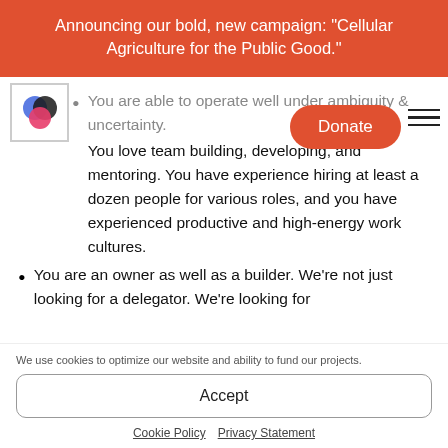Announcing our bold, new campaign: "Cellular Agriculture for the Public Good."
You are able to operate well under ambiguity & uncertainty.
You love team building, developing, and mentoring. You have experience hiring at least a dozen people for various roles, and you have experienced productive and high-energy work cultures.
You are an owner as well as a builder. We’re not just looking for a delegator. We’re looking for
We use cookies to optimize our website and ability to fund our projects.
Accept
Cookie Policy   Privacy Statement